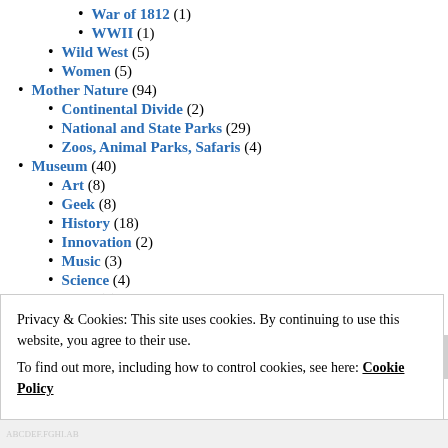War of 1812 (1)
WWII (1)
Wild West (5)
Women (5)
Mother Nature (94)
Continental Divide (2)
National and State Parks (29)
Zoos, Animal Parks, Safaris (4)
Museum (40)
Art (8)
Geek (8)
History (18)
Innovation (2)
Music (3)
Science (4)
Sex Trade (1)
Shopping (26)
Privacy & Cookies: This site uses cookies. By continuing to use this website, you agree to their use. To find out more, including how to control cookies, see here: Cookie Policy